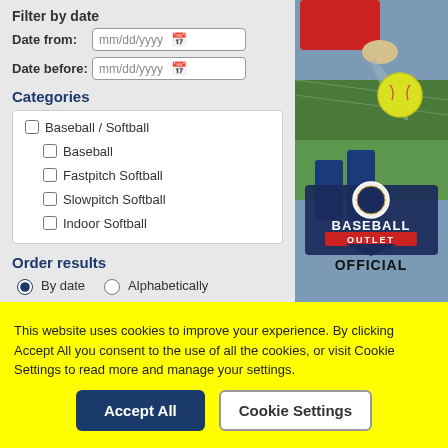Filter by date
Date from: mm/dd/yyyy
Date before: mm/dd/yyyy
Categories
Baseball / Softball
Baseball
Fastpitch Softball
Slowpitch Softball
Indoor Softball
Order results
By date (selected) Alphabetically
Ascending (selected) Descending
[Figure (photo): Baseball Outlet advertisement with softball player swinging a bat at a yellow softball, with 'BASEBALL OUTLET OFFICIAL' text overlay]
This website uses cookies to improve your experience. By clicking Accept All you consent to the use of all the cookies, or visit Cookie Settings to read more and manage your settings.